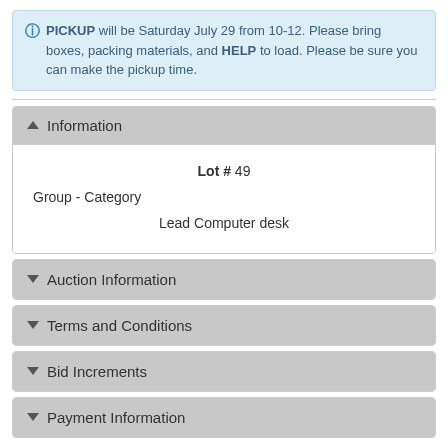PICKUP will be Saturday July 29 from 10-12. Please bring boxes, packing materials, and HELP to load. Please be sure you can make the pickup time.
Information
| Lot # | 49 |
| Group - Category |  |
| Lead | Computer desk |
Auction Information
Terms and Conditions
Bid Increments
Payment Information